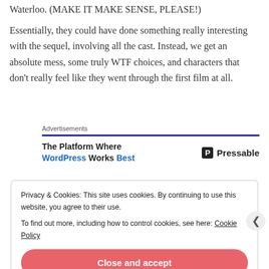Waterloo. (MAKE IT MAKE SENSE, PLEASE!)
Essentially, they could have done something really interesting with the sequel, involving all the cast. Instead, we get an absolute mess, some truly WTF choices, and characters that don't really feel like they went through the first film at all.
Advertisements
The Platform Where WordPress Works Best   Pressable
Privacy & Cookies: This site uses cookies. By continuing to use this website, you agree to their use. To find out more, including how to control cookies, see here: Cookie Policy
Close and accept